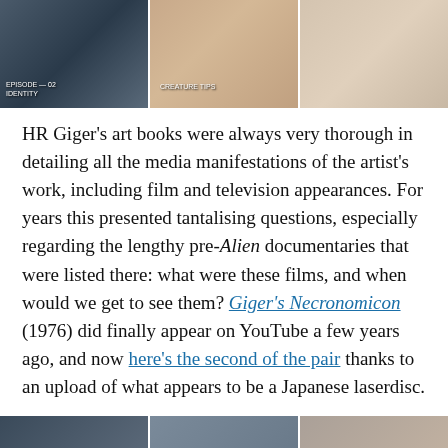[Figure (photo): Three-panel image strip at top: left panel shows a dark architectural/sculptural image with text overlay, center panel shows a hand holding what appears to be a book with text overlay, right panel shows a lighter scene possibly an interior.]
HR Giger’s art books were always very thorough in detailing all the media manifestations of the artist’s work, including film and television appearances. For years this presented tantalising questions, especially regarding the lengthy pre-Alien documentaries that were listed there: what were these films, and when would we get to see them? Giger’s Necronomicon (1976) did finally appear on YouTube a few years ago, and now here’s the second of the pair thanks to an upload of what appears to be a Japanese laserdisc.
[Figure (photo): Partial bottom strip showing another three-panel image, cropped at page bottom.]